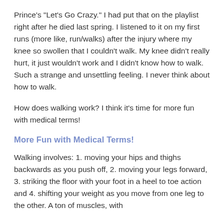Prince's "Let's Go Crazy." I had put that on the playlist right after he died last spring. I listened to it on my first runs (more like, run/walks) after the injury where my knee so swollen that I couldn't walk. My knee didn't really hurt, it just wouldn't work and I didn't know how to walk. Such a strange and unsettling feeling. I never think about how to walk.
How does walking work? I think it's time for more fun with medical terms!
More Fun with Medical Terms!
Walking involves: 1. moving your hips and thighs backwards as you push off, 2. moving your legs forward, 3. striking the floor with your foot in a heel to toe action and 4. shifting your weight as you move from one leg to the other. A ton of muscles, with